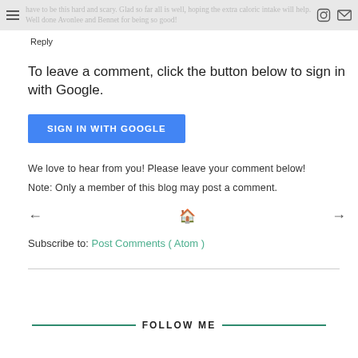have to be this hard and scary. Glad so far all is well, hoping the extra caloric intake will help. Well done Avonlee and Bennet for being so good!
Reply
To leave a comment, click the button below to sign in with Google.
SIGN IN WITH GOOGLE
We love to hear from you! Please leave your comment below!
Note: Only a member of this blog may post a comment.
Subscribe to: Post Comments ( Atom )
FOLLOW ME